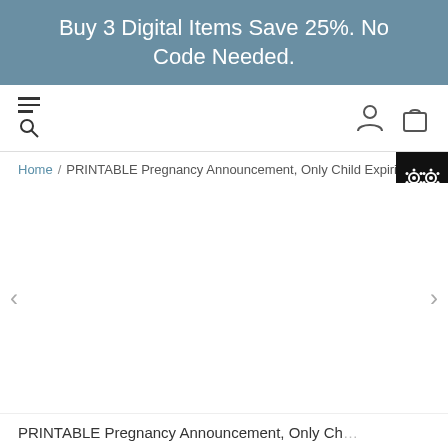Buy 3 Digital Items Save 25%. No Code Needed.
[Figure (screenshot): Navigation bar with hamburger menu and search icon on left, user account and shopping bag icons on right]
Home / PRINTABLE Pregnancy Announcement, Only Child Expiring Arrow - May
[Figure (screenshot): Product image carousel area with left and right navigation arrows, image area is blank/white]
PRINTABLE Pregnancy Announcement, Only Child